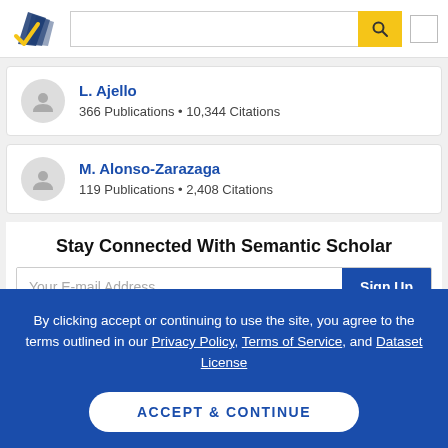[Figure (logo): Semantic Scholar logo — stylized open book/pages in navy and gold]
L. Ajello
366 Publications • 10,344 Citations
M. Alonso-Zarazaga
119 Publications • 2,408 Citations
Stay Connected With Semantic Scholar
Your E-mail Address
Sign Up
By clicking accept or continuing to use the site, you agree to the terms outlined in our Privacy Policy, Terms of Service, and Dataset License
ACCEPT & CONTINUE